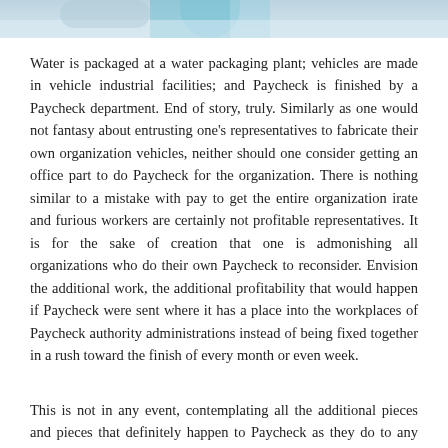[Figure (photo): Partial photo strip at top of page, showing what appears to be a water packaging or industrial setting with blue and light tones]
Water is packaged at a water packaging plant; vehicles are made in vehicle industrial facilities; and Paycheck is finished by a Paycheck department. End of story, truly. Similarly as one would not fantasy about entrusting one's representatives to fabricate their own organization vehicles, neither should one consider getting an office part to do Paycheck for the organization. There is nothing similar to a mistake with pay to get the entire organization irate and furious workers are certainly not profitable representatives. It is for the sake of creation that one is admonishing all organizations who do their own Paycheck to reconsider. Envision the additional work, the additional profitability that would happen if Paycheck were sent where it has a place into the workplaces of Paycheck authority administrations instead of being fixed together in a rush toward the finish of every month or even week.
This is not in any event, contemplating all the additional pieces and pieces that definitely happen to Paycheck as they do to any region of any work. No employment is ever as smooth and clear…